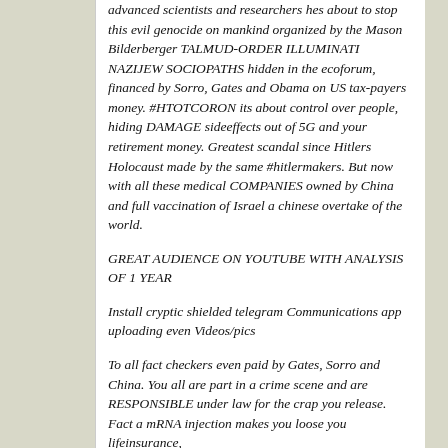advanced scientists and researchers hes about to stop this evil genocide on mankind organized by the Mason Bilderberger TALMUD-ORDER ILLUMINATI NAZIJEW SOCIOPATHS hidden in the ecoforum, financed by Sorro, Gates and Obama on US tax-payers money. #HTOTCORON its about control over people, hiding DAMAGE sideeffects out of 5G and your retirement money. Greatest scandal since Hitlers Holocaust made by the same #hitlermakers. But now with all these medical COMPANIES owned by China and full vaccination of Israel a chinese overtake of the world.
GREAT AUDIENCE ON YOUTUBE WITH ANALYSIS OF 1 YEAR
Install cryptic shielded telegram Communications app uploading even Videos/pics
To all fact checkers even paid by Gates, Sorro and China. You all are part in a crime scene and are RESPONSIBLE under law for the crap you release. Fact a mRNA injection makes you loose you lifeinsurance,